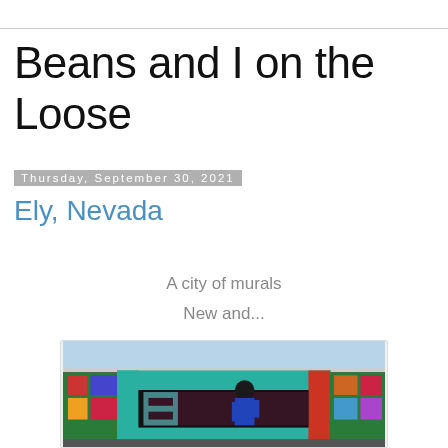Beans and I on the Loose
Thursday, September 30, 2021
Ely, Nevada
A city of murals

New and...
[Figure (photo): A colorful street mural in Ely, Nevada featuring large geometric letter shapes in teal/green and red/orange, with a person in a blue jacket standing in front of it. The mural has decorative patterns with various colors.]